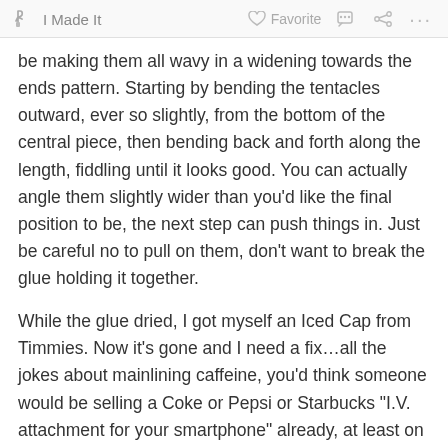I Made It   Favorite
be making them all wavy in a widening towards the ends pattern. Starting by bending the tentacles outward, ever so slightly, from the bottom of the central piece, then bending back and forth along the length, fiddling until it looks good. You can actually angle them slightly wider than you'd like the final position to be, the next step can push things in. Just be careful no to pull on them, don't want to break the glue holding it together.
While the glue dried, I got myself an Iced Cap from Timmies. Now it's gone and I need a fix…all the jokes about mainlining caffeine, you'd think someone would be selling a Coke or Pepsi or Starbucks "I.V. attachment for your smartphone" already, at least on the black market. Imagine how profits would soar